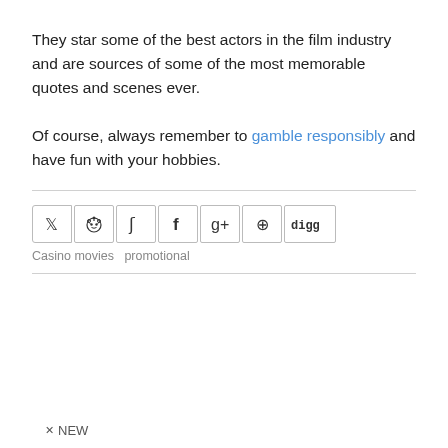They star some of the best actors in the film industry and are sources of some of the most memorable quotes and scenes ever.
Of course, always remember to gamble responsibly and have fun with your hobbies.
[Figure (other): Social sharing buttons row: Twitter, Reddit, StumbleUpon, Facebook, Google+, Pinterest, Digg]
Casino movies   promotional
NEW